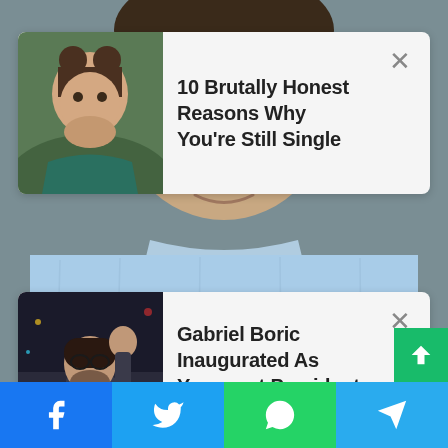[Figure (screenshot): Background photo of a man in a blue linen shirt, cropped torso/face area]
[Figure (screenshot): News card 1: thumbnail of woman covering mouth, headline '10 Brutally Honest Reasons Why You're Still Single', close button]
10 Brutally Honest Reasons Why You're Still Single
[Figure (screenshot): News card 2: thumbnail of Gabriel Boric raising fist, headline 'Gabriel Boric Inaugurated As Youngest President Of Chile', close button]
Gabriel Boric Inaugurated As Youngest President Of Chile
[Figure (screenshot): Social sharing bar at bottom with Facebook, Twitter, WhatsApp, and Telegram icons]